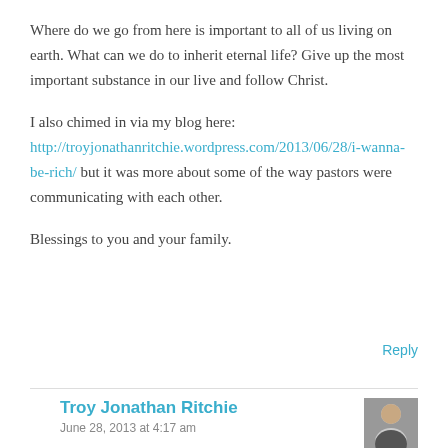Where do we go from here is important to all of us living on earth. What can we do to inherit eternal life? Give up the most important substance in our live and follow Christ.
I also chimed in via my blog here: http://troyjonathanritchie.wordpress.com/2013/06/28/i-wanna-be-rich/ but it was more about some of the way pastors were communicating with each other.
Blessings to you and your family.
Reply
Troy Jonathan Ritchie
June 28, 2013 at 4:17 am